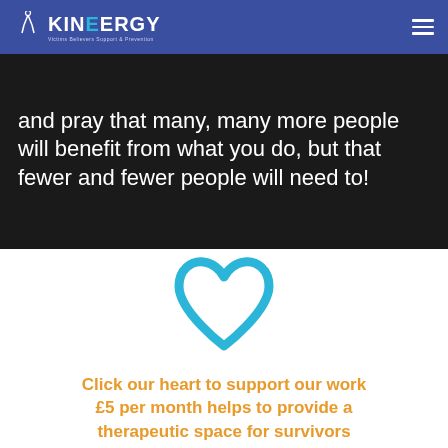KINERGY - Victims Believes Support & Prevention
and pray that many, many more people will benefit from what you do, but that fewer and fewer people will need to!
[Figure (illustration): A teal/blue outlined heart icon (not filled), used as a clickable donation button]
Click our heart to support our work £5 per month helps to provide a therapeutic space for survivors